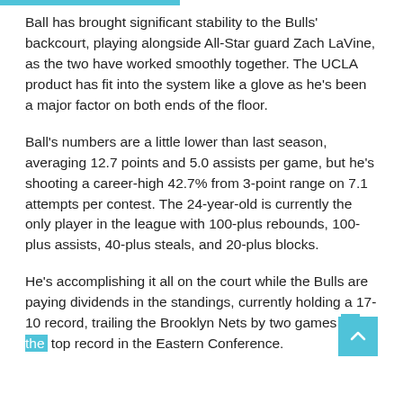Ball has brought significant stability to the Bulls' backcourt, playing alongside All-Star guard Zach LaVine, as the two have worked smoothly together. The UCLA product has fit into the system like a glove as he's been a major factor on both ends of the floor.
Ball's numbers are a little lower than last season, averaging 12.7 points and 5.0 assists per game, but he's shooting a career-high 42.7% from 3-point range on 7.1 attempts per contest. The 24-year-old is currently the only player in the league with 100-plus rebounds, 100-plus assists, 40-plus steals, and 20-plus blocks.
He's accomplishing it all on the court while the Bulls are paying dividends in the standings, currently holding a 17-10 record, trailing the Brooklyn Nets by two games for the top record in the Eastern Conference.